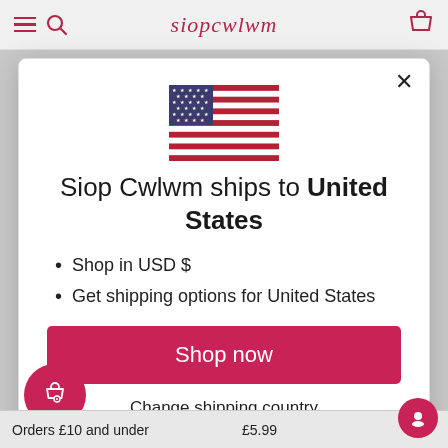siopcwlwm
[Figure (screenshot): Modal dialog showing US flag, shipping information for United States, Shop now button, and Change shipping country link]
Siop Cwlwm ships to United States
Shop in USD $
Get shipping options for United States
Shop now
Change shipping country
Orders £10 and under
£5.99